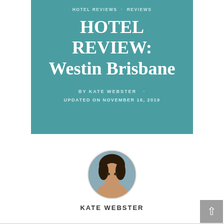HOTEL REVIEWS · REVIEWS
HOTEL REVIEW: Westin Brisbane
BY KATE WEBSTER
UPDATED ON NOVEMBER 16, 2019
[Figure (photo): Circular author avatar photo of Kate Webster]
KATE WEBSTER